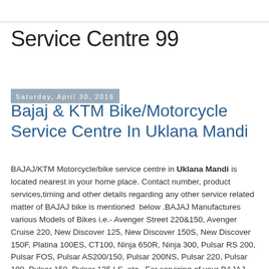Service Centre 99
Saturday, April 30, 2016
Bajaj & KTM Bike/Motorcycle Service Centre In Uklana Mandi
BAJAJ/KTM Motorcycle/bike service centre in Uklana Mandi is located nearest in your home place. Contact number, product services,timing and other details regarding any other service related matter of BAJAJ bike is mentioned  below .BAJAJ Manufactures various Models of Bikes i.e.- Avenger Street 220&150, Avenger Cruise 220, New Discover 125, New Discover 150S, New Discover 150F, Platina 100ES, CT100, Ninja 650R, Ninja 300, Pulsar RS 200, Pulsar FOS, Pulsar AS200/150, Pulsar 200NS, Pulsar 220, Pulsar 180, Pulsar 150, Pulsar 135 LS, etc  .For servicing of your BAJAJ two wheeler just call at the contact no mentioned below to avoid long rush or waiting time at the service Station.Make Advance booking for maintenance/servicing/Repairing of BAJAJ/KTM bikes. Service Station details in Uklana Mandi Mentioned below .